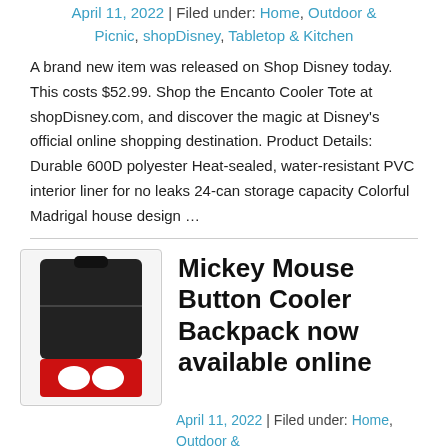April 11, 2022 | Filed under: Home, Outdoor & Picnic, shopDisney, Tabletop & Kitchen
A brand new item was released on Shop Disney today. This costs $52.99. Shop the Encanto Cooler Tote at shopDisney.com, and discover the magic at Disney's official online shopping destination. Product Details: Durable 600D polyester Heat-sealed, water-resistant PVC interior liner for no leaks 24-can storage capacity Colorful Madrigal house design …
[Figure (photo): Mickey Mouse Button Cooler Backpack product image — black cooler bag with red Mickey Mouse button design at the bottom]
Mickey Mouse Button Cooler Backpack now available online
April 11, 2022 | Filed under: Home, Outdoor & Picnic, shopDisney, Tabletop & Kitchen
Mickey Mouse Button Cooler Backpack was released today on Shop Disney. The price for this is $69.99. Shop the Mickey Mouse Button Cooler Backpack at shopDisney.com, and discover the